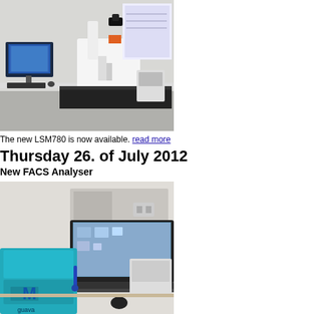[Figure (photo): Laboratory room with a computer monitor, keyboard, and a Zeiss LSM780 confocal microscope on a black optical table. White walls in the background with a poster.]
The new LSM780 is now available. read more
Thursday 26. of July 2012
New FACS Analyser
[Figure (photo): A Guava FACS analyser (flow cytometer) in teal/blue color with a laptop connected to it on a laboratory bench. Various cables and accessories visible.]